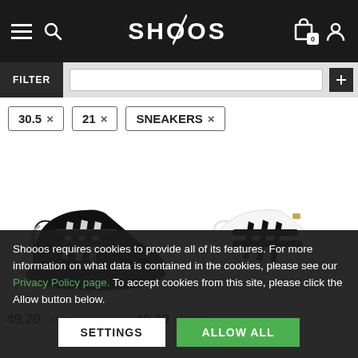SHOOOS - navigation header with hamburger menu, search, logo, cart (0), user icon
30.5 ×  21 ×  SNEAKERS ×
[Figure (photo): Black Adidas sneaker/trainer with white three stripes and velcro straps, child size, angled side view on white background]
[Figure (photo): White Adidas sneaker/trainer with black three stripes and velcro straps, child size, angled side view on white background]
Shooos requires cookies to provide all of its features. For more information on what data is contained in the cookies, please see our Privacy Policy page. To accept cookies from this site, please click the Allow button below.
49.20  $65.00 ×    49.20  $65.00 ×
SETTINGS
ALLOW ALL